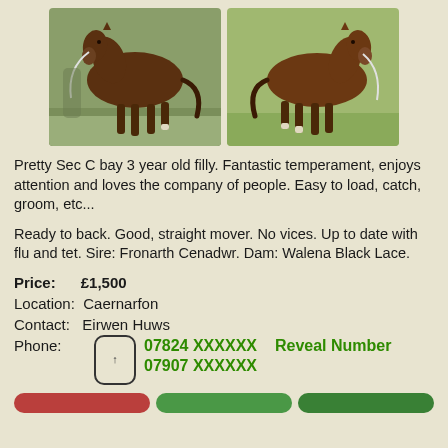[Figure (photo): Two photos of a bay Welsh Section C filly horse, shown from the side, one in a field and one on grass.]
Pretty Sec C bay 3 year old filly. Fantastic temperament, enjoys attention and loves the company of people. Easy to load, catch, groom, etc...
Ready to back. Good, straight mover. No vices. Up to date with flu and tet. Sire: Fronarth Cenadwr. Dam: Walena Black Lace.
Price: £1,500
Location: Caernarfon
Contact: Eirwen Huws
Phone: 07824 XXXXXX  Reveal Number  07907 XXXXXX